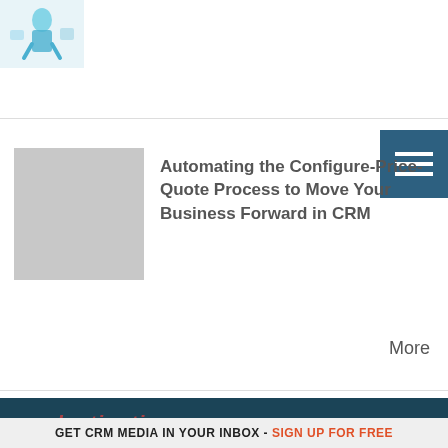[Figure (illustration): Small illustration of person/figure at top left corner of page]
[Figure (illustration): Hamburger/menu icon button in dark teal/blue square at top right]
[Figure (photo): Gray placeholder thumbnail image for article]
Automating the Configure-Price-Quote Process to Move Your Business Forward in CRM
More
[Figure (logo): destination CRM logo - large blue CRM letters with 'destination' in red italic above, 'FROM THE EDITORS OF CRM MAGAZINE' below, on dark teal background]
destinationCRM.com is dedicated to providing Customer Relationship
GET CRM MEDIA IN YOUR INBOX - SIGN UP FOR FREE